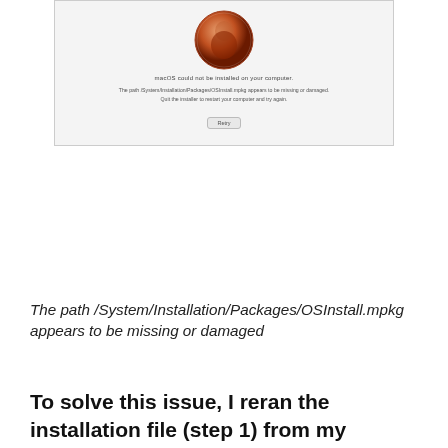[Figure (screenshot): Mac OS error dialog screenshot showing a circular icon with what appears to be a stop/error symbol, error title text, body text about the path /System/Installation/Packages/OSInstall.mpkg appearing to be missing or damaged, and a button. The dialog has a light gray background.]
The path /System/Installation/Packages/OSInstall.mpkg appears to be missing or damaged
To solve this issue, I reran the installation file (step 1) from my regular Mac OS partition.
3. Phew, we made it pretty far now, and the installation actually ran to completion following many reboots (boot back into the "install Mac OS" partition everytime). Once I tried to boot